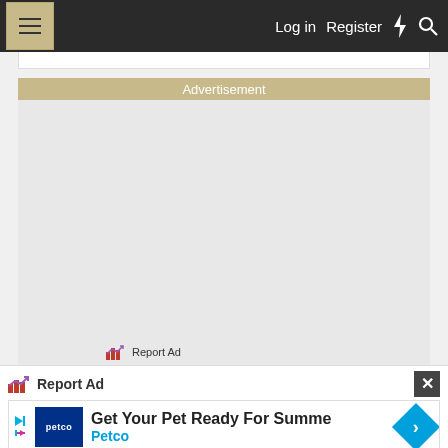Log in  Register
Advertisement
[Figure (screenshot): Empty grey advertisement content area]
Report Ad
Report Ad
[Figure (screenshot): Petco advertisement: Get Your Pet Ready For Summe - Petco]